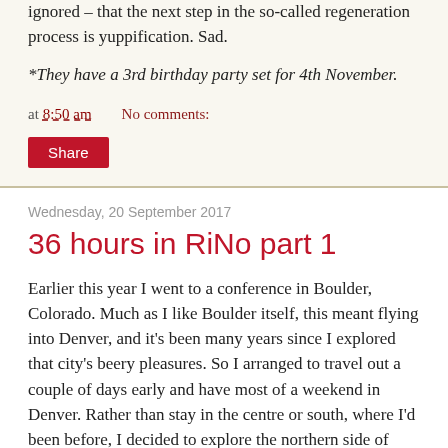ignored – that the next step in the so-called regeneration process is yuppification. Sad.
*They have a 3rd birthday party set for 4th November.
at 8:50 am   No comments:
Share
Wednesday, 20 September 2017
36 hours in RiNo part 1
Earlier this year I went to a conference in Boulder, Colorado. Much as I like Boulder itself, this meant flying into Denver, and it's been many years since I explored that city's beery pleasures. So I arranged to travel out a couple of days early and have most of a weekend in Denver. Rather than stay in the centre or south, where I'd been before, I decided to explore the northern side of town, more specifically the up-and-coming arty area of RiNo, or River North.